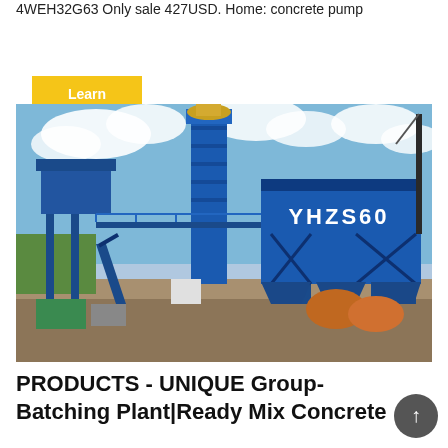4WEH32G63 Only sale 427USD. Home: concrete pump
Learn More
[Figure (photo): YHZS60 mobile concrete batching plant on a construction site. Large blue steel structure with silo tower and labeled 'YHZS60'. Concrete mixer trucks visible in background.]
PRODUCTS - UNIQUE Group-Batching Plant|Ready Mix Concrete